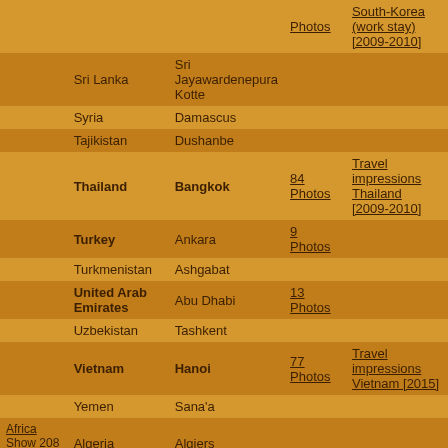| Region | Country | Capital | Photos | Links |
| --- | --- | --- | --- | --- |
|  |  |  | Photos | South-Korea (work stay) [2009-2010] |
|  | Sri Lanka | Sri Jayawardenepura Kotte |  |  |
|  | Syria | Damascus |  |  |
|  | Tajikistan | Dushanbe |  |  |
|  | Thailand | Bangkok | 84 Photos | Travel impressions Thailand [2009-2010] |
|  | Turkey | Ankara | 9 Photos |  |
|  | Turkmenistan | Ashgabat |  |  |
|  | United Arab Emirates | Abu Dhabi | 13 Photos |  |
|  | Uzbekistan | Tashkent |  |  |
|  | Vietnam | Hanoi | 77 Photos | Travel impressions Vietnam [2015] |
|  | Yemen | Sana'a |  |  |
| Africa Show 208 pictures | Algeria | Algiers |  |  |
|  | Angola | Luanda |  |  |
|  | Benin | Porto-Novo |  |  |
|  | Botswana | Gaborone |  |  |
|  | Burkina Faso | Ouagadougou |  |  |
|  | Burundi | Bujumbura |  |  |
|  | Cameroon | Yaoundé |  |  |
|  | Central African Republic | Bangui |  |  |